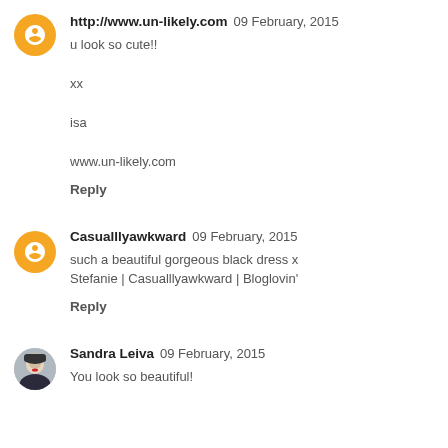http://www.un-likely.com  09 February, 2015
u look so cute!!

xx

isa

www.un-likely.com
Reply
Casualllyawkward  09 February, 2015
such a beautiful gorgeous black dress x
Stefanie | Casualllyawkward | Bloglovin'
Reply
Sandra Leiva  09 February, 2015
You look so beautiful!